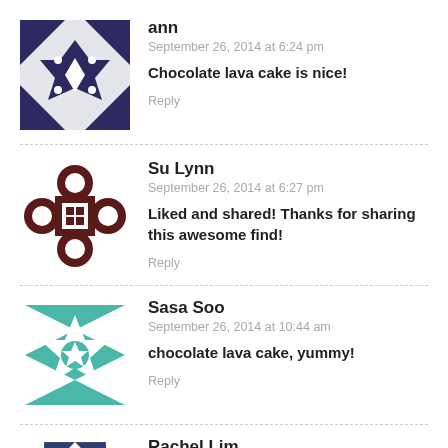[Figure (illustration): Avatar icon for user ann — dark purple geometric star/cross pattern on white square]
ann
September 26, 2014 at 6:24 pm
Chocolate lava cake is nice!
Reply
[Figure (illustration): Avatar icon for Su Lynn — dark brown floral/cross motif on white square]
Su Lynn
September 26, 2014 at 6:27 pm
Liked and shared! Thanks for sharing this awesome find!
Reply
[Figure (illustration): Avatar icon for Sasa Soo — teal and white geometric quilt pattern on white square]
Sasa Soo
September 26, 2014 at 10:44 am
chocolate lava cake, yummy!
Reply
[Figure (illustration): Avatar icon for Rachel Lim — dark navy blue geometric diamond/triangle pattern on white square]
Rachel Lim